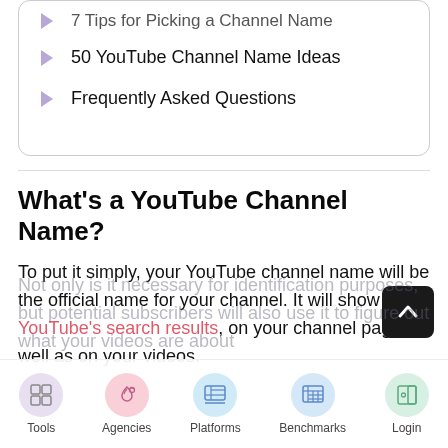50 YouTube Channel Name Ideas
Frequently Asked Questions
What's a YouTube Channel Name?
To put it simply, your YouTube channel name will be the official name for your channel. It will show up in YouTube's search results, on your channel page as well as on your videos.
Not only is it necessary for identification purposes, but potential subscribers will also use it to figure out what your videos are about
Tools  Agencies  Platforms  Benchmarks  Login